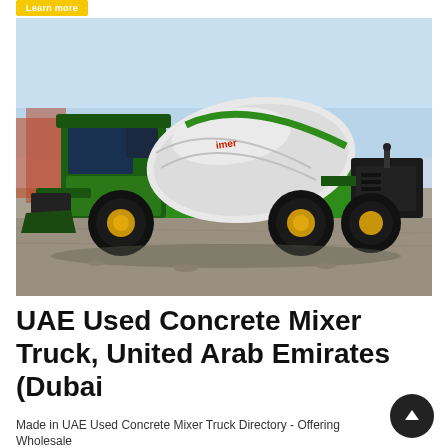[Figure (other): Yellow 'Learn more' button, partially cropped at top of page]
[Figure (photo): A green self-loading concrete mixer truck photographed on a construction site with gravel ground and blue sky background. The truck features a white rotating drum, green cab, front loader bucket, and black wheels with gold/yellow rims.]
UAE Used Concrete Mixer Truck, United Arab Emirates (Dubai
Made in UAE Used Concrete Mixer Truck Directory - Offering Wholesale